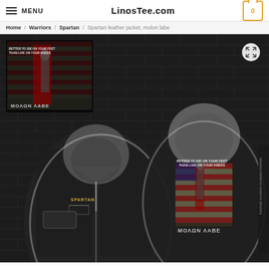MENU   LinosTee.com   0
Home / Warriors / Spartan / Spartan leather jacket, molon labe
[Figure (photo): Product photo of a Spartan-themed leather jacket with hoodie, showing front and back views. The jacket features American flag graphics with a Spartan warrior and the text 'BETTER TO DIE ON YOUR FEET THAN LIVE ON YOUR KNEES' and 'MOLON LABE'. Background is a dark brick wall.]